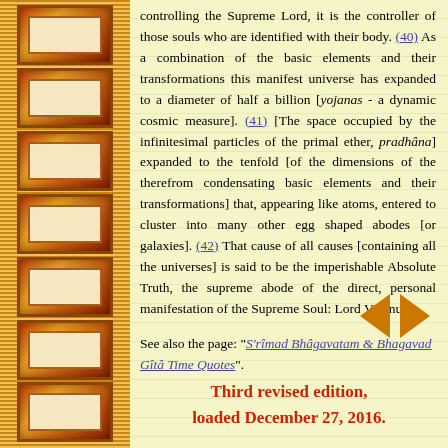controlling the Supreme Lord, it is the controller of those souls who are identified with their body. (40) As a combination of the basic elements and their transformations this manifest universe has expanded to a diameter of half a billion [yojanas - a dynamic cosmic measure]. (41) [The space occupied by the infinitesimal particles of the primal ether, pradhâna] expanded to the tenfold [of the dimensions of the therefrom condensating basic elements and their transformations] that, appearing like atoms, entered to cluster into many other egg shaped abodes [or galaxies]. (42) That cause of all causes [containing all the universes] is said to be the imperishable Absolute Truth, the supreme abode of the direct, personal manifestation of the Supreme Soul: Lord Vishnu.'
See also the page: "S'rîmad Bhâgavatam & Bhagavad Gîtâ Time Quotes".
[Figure (other): Navigation arrows pointing left and right (orange/gold colored triangles)]
Third revised edition, loaded December 27, 2016.